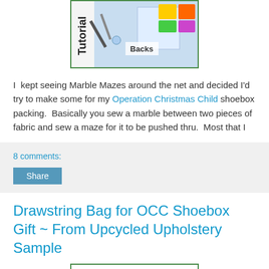[Figure (photo): Tutorial image showing marble maze with fabric pieces and 'Backs' label, framed with green border]
I kept seeing Marble Mazes around the net and decided I'd try to make some for my Operation Christmas Child shoebox packing. Basically you sew a marble between two pieces of fabric and sew a maze for it to be pushed thru. Most that I
8 comments:
Share
Drawstring Bag for OCC Shoebox Gift ~ From Upcycled Upholstery Sample
[Figure (photo): Script/cursive text image with green border, partially visible cursive writing]